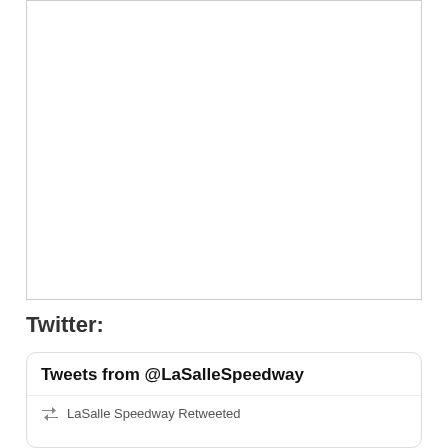[Figure (other): Empty white box with border, representing an embedded image or content area]
Twitter:
Tweets from @LaSalleSpeedway
LaSalle Speedway Retweeted